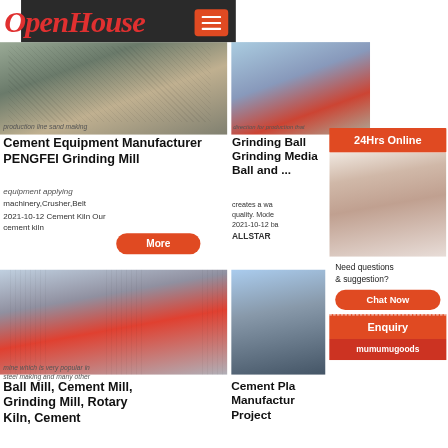OpenHouse
[Figure (screenshot): Industrial mining/cement equipment machinery photo - conveyor belt and processing equipment]
production line sand making
Cement Equipment Manufacturer PENGFEI Grinding Mill
equipment applying machinery,Crusher,Belt 2021-10-12  Cement Kiln Our cement  kiln
[Figure (screenshot): Industrial cement plant with silos and industrial structures, aerial/wide view]
direction for production that
Grinding Ball Grinding Media Ball and ...
creates a wa quality. Mode 2021-10-12 ba ALLSTAR
[Figure (photo): Customer service representative woman with headset smiling - 24hrs online chat widget]
24Hrs Online
Need questions & suggestion?
Chat Now
Enquiry
mumumugoods
[Figure (screenshot): Industrial plant with red structures and equipment, construction site]
mine which is very popular in steel making and many other
Ball Mill, Cement Mill, Grinding Mill, Rotary Kiln, Cement
[Figure (screenshot): Cement plant manufacturing facility with tall structures and trees]
Cement Plant Manufacturer Project